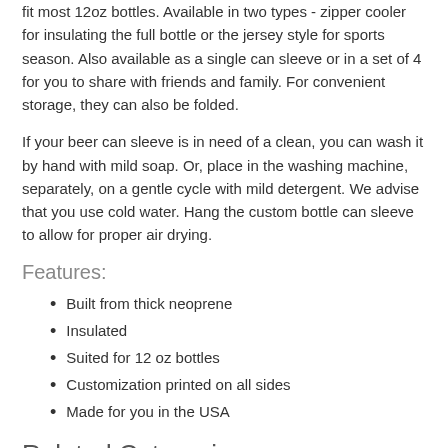fit most 12oz bottles. Available in two types - zipper cooler for insulating the full bottle or the jersey style for sports season. Also available as a single can sleeve or in a set of 4 for you to share with friends and family. For convenient storage, they can also be folded.
If your beer can sleeve is in need of a clean, you can wash it by hand with mild soap. Or, place in the washing machine, separately, on a gentle cycle with mild detergent. We advise that you use cold water. Hang the custom bottle can sleeve to allow for proper air drying.
Features:
Built from thick neoprene
Insulated
Suited for 12 oz bottles
Customization printed on all sides
Made for you in the USA
Related Categories
Hoping to expand your drink ware accessories? Our Bar and